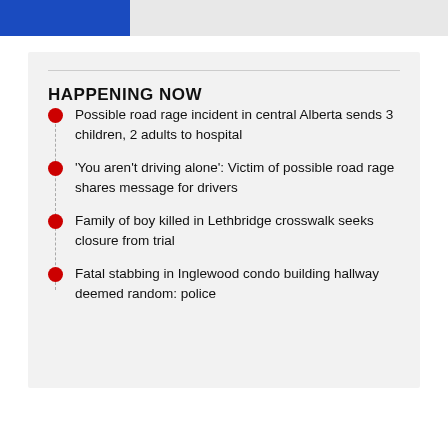HAPPENING NOW
Possible road rage incident in central Alberta sends 3 children, 2 adults to hospital
'You aren't driving alone': Victim of possible road rage shares message for drivers
Family of boy killed in Lethbridge crosswalk seeks closure from trial
Fatal stabbing in Inglewood condo building hallway deemed random: police